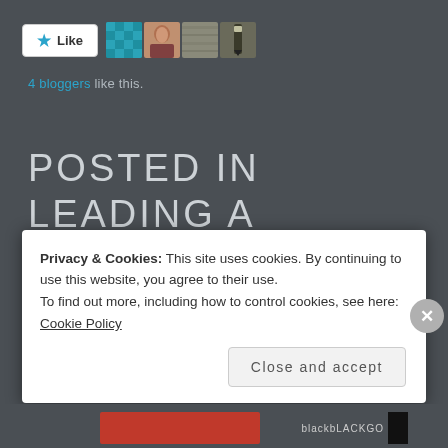[Figure (screenshot): Like button with star icon and 4 blogger avatars]
4 bloggers like this.
POSTED IN LEADING A BETTER LIFE.
Privacy & Cookies: This site uses cookies. By continuing to use this website, you agree to their use.
To find out more, including how to control cookies, see here: Cookie Policy